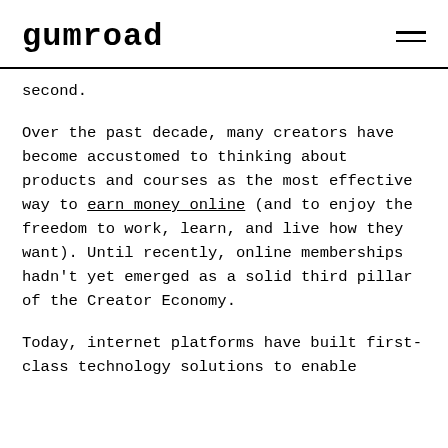Gumroad
second.
Over the past decade, many creators have become accustomed to thinking about products and courses as the most effective way to earn money online (and to enjoy the freedom to work, learn, and live how they want). Until recently, online memberships hadn't yet emerged as a solid third pillar of the Creator Economy.
Today, internet platforms have built first-class technology solutions to enable